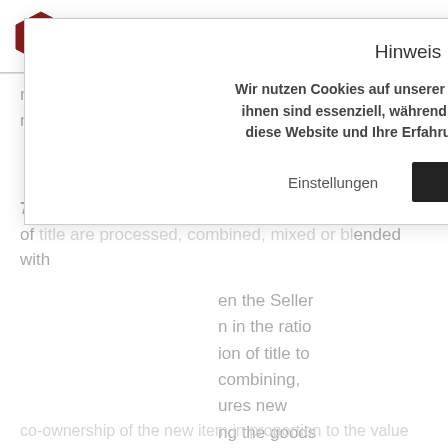TH. SCHOLTEN GMBH & CO. HG
may keep the goods on behalf of the Seller, which must be done with due business diligence.
7.) If the goods delivered by the Seller under retention of title are processed, combined, mixed or blended with ... en the Seller ... n in the ratio ... ion of title to ... combining, ... ures new ... ng the goods ... ant the Seller
co-ownership of the new item in proportion to the value
Hinweis
Wir nutzen Cookies auf unserer Website. Einige von ihnen sind essenziell, während andere uns helfen, diese Website und Ihre Erfahrung zu verbessern.
Einstellungen  Okay